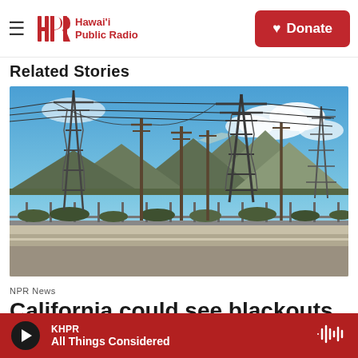Hawai'i Public Radio — Donate
Related Stories
[Figure (photo): Power transmission towers and utility poles along a road with mountains and blue sky in the background, taken in California.]
NPR News
California could see blackouts as
KHPR — All Things Considered